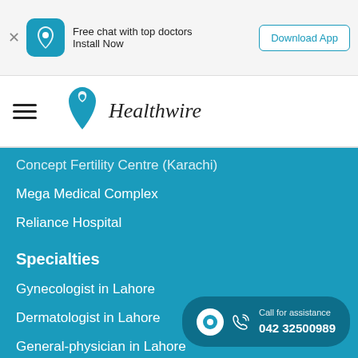[Figure (screenshot): App install banner with Healthwire logo icon, text 'Free chat with top doctors / Install Now', and 'Download App' button]
[Figure (logo): Healthwire logo with teal heart/location pin icon and italic 'Healthwire' text, with hamburger menu icon on left]
Concept Fertility Centre (Karachi)
Mega Medical Complex
Reliance Hospital
Specialties
Gynecologist in Lahore
Dermatologist in Lahore
General-physician in Lahore
Dentist in Lahore
Oncologist in Lahore
Cardiologist in Lahore
ENT in Lahore
Pulmonologist in Lahore
Urologist in Lahore
Call for assistance
042 32500989